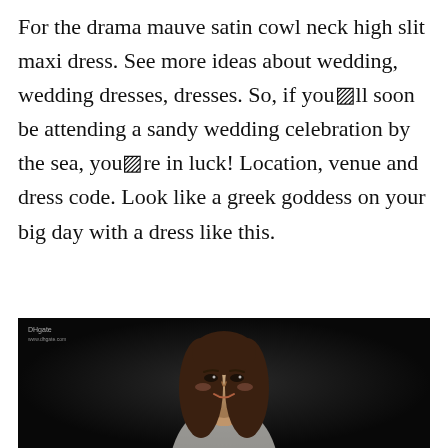For the drama mauve satin cowl neck high slit maxi dress. See more ideas about wedding, wedding dresses, dresses. So, if you�ll soon be attending a sandy wedding celebration by the sea, you�re in luck! Location, venue and dress code. Look like a greek goddess on your big day with a dress like this.
[Figure (photo): Black and white photo of a young woman with long hair, smiling, wearing a white dress, with a DHgate.com watermark in the top left corner.]